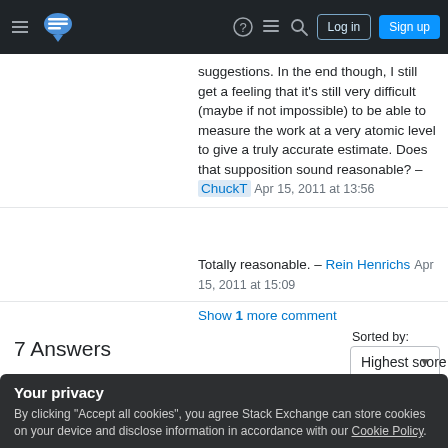Stack Exchange navigation bar with Log in and Sign up buttons
suggestions. In the end though, I still get a feeling that it's still very difficult (maybe if not impossible) to be able to measure the work at a very atomic level to give a truly accurate estimate. Does that supposition sound reasonable? – ChuckT Apr 15, 2011 at 13:56
Totally reasonable. – Rein Henrichs Apr 15, 2011 at 15:09
Show 1 more comment
7 Answers
Sorted by: Highest score (default)
Your privacy
By clicking "Accept all cookies", you agree Stack Exchange can store cookies on your device and disclose information in accordance with our Cookie Policy.
Accept all cookies   Customize settings
rather than a fixed date. The drawbacks I found